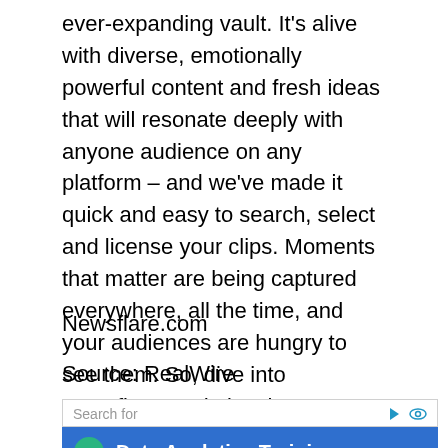ever-expanding vault. It's alive with diverse, emotionally powerful content and fresh ideas that will resonate deeply with anyone audience on any platform – and we've made it quick and easy to search, select and license your clips. Moments that matter are being captured everywhere, all the time, and your audiences are hungry to see them. So, dive into Newsflare, and give them a front-row seat.
Newsflare.com
Source: RealWire
1 Data Analytics Training
2 Top 10 Big Data Analytics Tools